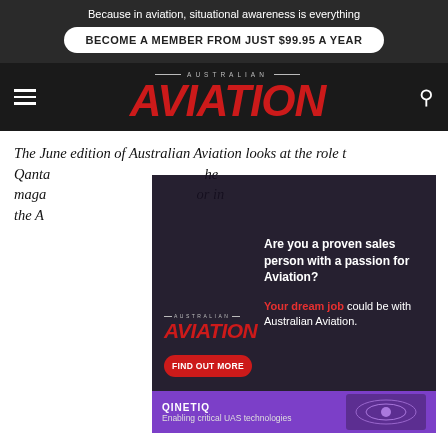Because in aviation, situational awareness is everything
BECOME A MEMBER FROM JUST $99.95 A YEAR
[Figure (logo): Australian Aviation masthead logo in red italic bold text on dark background with hamburger menu and search icon]
The June edition of Australian Aviation looks at the role t[obscured] Qanta[obscured] he magazine[obscured] or in the A[obscured]
[Figure (advertisement): Australian Aviation job ad overlay with logo, FIND OUT MORE button, and text: Are you a proven sales person with a passion for Aviation? Your dream job could be with Australian Aviation.]
[Figure (advertisement): QinetiQ purple banner ad: Enabling critical UAS technologies]
Air Fo[rce] galler[y]
Go deep into our image archives as we commemorate the